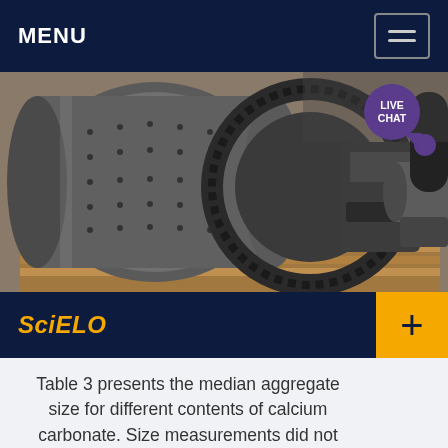MENU
[Figure (photo): Industrial ball mill machine photographed in a warehouse/workshop setting. The mill has a large cylindrical drum with a gear ring, sitting on a wooden pallet.]
SciELO
Table 3 presents the median aggregate size for different contents of calcium carbonate. Size measurements did not show any significant change for various volume fractions in the range of 10 to 40 vol%. This can be attributed to equal improvement in the rate aggregation and breakage, as had been